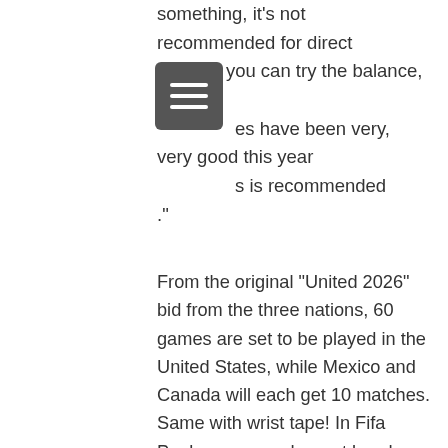something, it's not recommended for direct passes, you can try the balance, direct es have been very, very good this year s is recommended
."
[Figure (other): Hamburger menu icon button (three horizontal white lines on dark gray/charcoal rounded rectangle background)]
From the original "United 2026" bid from the three nations, 60 games are set to be played in the United States, while Mexico and Canada will each get 10 matches. Same with wrist tape! In Fifa Pogba wears red sweat bands when in the white away and blue 3rd kit! Embarrassing! This mode is 10 years behind in Fifa.[24] In March 2022, EA suspended Diego Maradona from FIFA 22 following a legal dispute which claimed EA had negotiated with the wrong party and therefore did not have the rights to use his likeness.
My theory is Napoli and Juventus will be licenced on both games: Fifa 22 & Pes 22